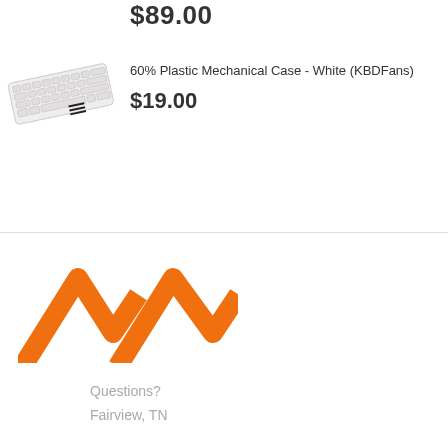$89.00
[Figure (photo): 60% plastic mechanical keyboard case in white, viewed at an angle]
60% Plastic Mechanical Case - White (KBDFans)
$19.00
[Figure (logo): Orange angular logo resembling two mountain peaks / chevrons]
Questions?
Fairview, TN